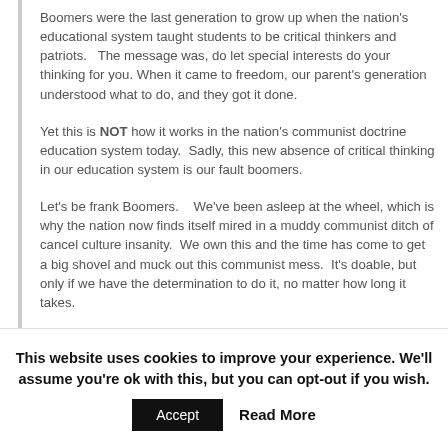Boomers were the last generation to grow up when the nation's educational system taught students to be critical thinkers and patriots.   The message was, do let special interests do your thinking for you. When it came to freedom, our parent's generation understood what to do, and they got it done.
Yet this is NOT how it works in the nation's communist doctrine education system today.  Sadly, this new absence of critical thinking in our education system is our fault boomers.
Let's be frank Boomers.    We've been asleep at the wheel, which is why the nation now finds itself mired in a muddy communist ditch of cancel culture insanity.  We own this and the time has come to get a big shovel and muck out this communist mess.  It's doable, but only if we have the determination to do it, no matter how long it takes.
That being said, let's move on and answer the question, "when will we see it."  Answering this question is extremely difficult because people never specific the when in "when."
This website uses cookies to improve your experience. We'll assume you're ok with this, but you can opt-out if you wish.
Accept   Read More